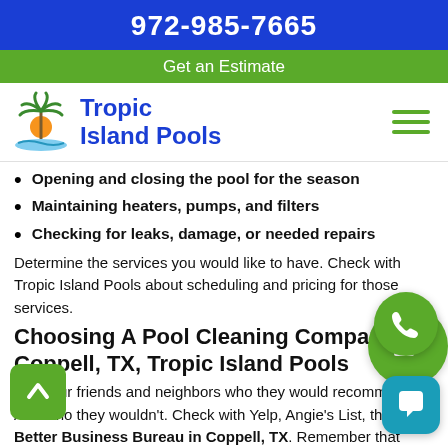972-985-7665
Get an Estimate
[Figure (logo): Tropic Island Pools logo with palm tree, sun, and water]
Opening and closing the pool for the season
Maintaining heaters, pumps, and filters
Checking for leaks, damage, or needed repairs
Determine the services you would like to have. Check with Tropic Island Pools about scheduling and pricing for those services.
Choosing A Pool Cleaning Company in Coppell, TX, Tropic Island Pools
Ask your friends and neighbors who they would recommend. And who they wouldn't. Check with Yelp, Angie's List, the Better Business Bureau in Coppell, TX. Remember that Angie's List and Yelp are not regulated, so there's no way to verify the claims of any client.